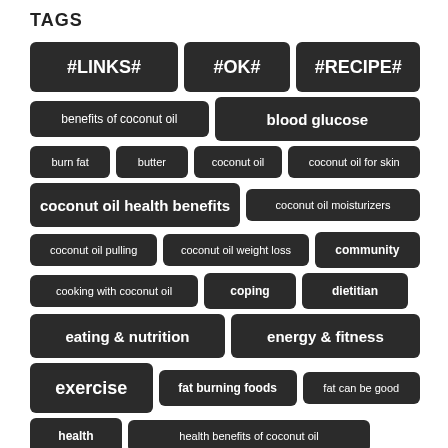TAGS
#LINKS#
#OK#
#RECIPE#
benefits of coconut oil
blood glucose
burn fat
butter
coconut oil
coconut oil for skin
coconut oil health benefits
coconut oil moisturizers
coconut oil pulling
coconut oil weight loss
community
cooking with coconut oil
coping
dietitian
eating & nutrition
energy & fitness
exercise
fat burning foods
fat can be good
health
health benefits of coconut oil